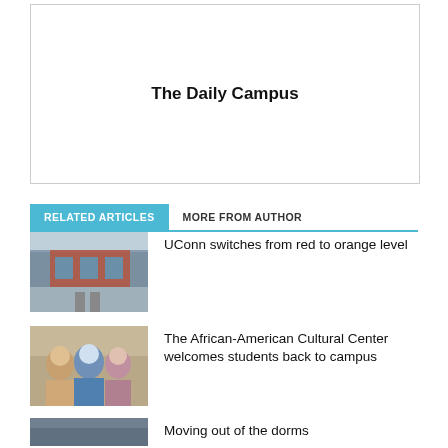[Figure (logo): Logo box with text 'The Daily Campus' centered inside a thin-bordered rectangle]
RELATED ARTICLES   MORE FROM AUTHOR
[Figure (photo): Photo of a modern brick building with people walking outside, representing UConn campus]
UConn switches from red to orange level
[Figure (photo): Photo of three people wearing masks standing together indoors]
The African-American Cultural Center welcomes students back to campus
[Figure (photo): Photo of dorm area, possibly aerial view with debris or items]
Moving out of the dorms